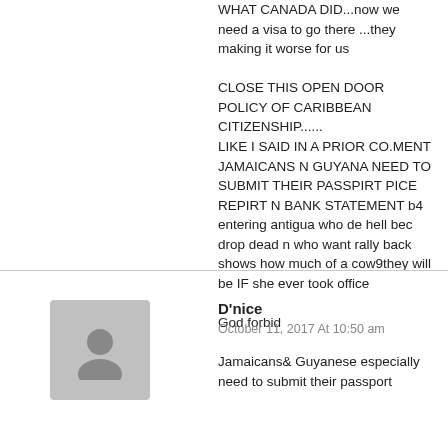WHAT CANADA DID...now we need a visa to go there ...they making it worse for us

CLOSE THIS OPEN DOOR POLICY OF CARIBBEAN CITIZENSHIP......
LIKE I SAID IN A PRIOR CO.MENT JAMAICANS N GUYANA NEED TO SUBMIT THEIR PASSPIRT PICE REPIRT N BANK STATEMENT b4 entering antigua who de hell bec drop dead n who want rally back shows how much of a cow9they will be IF she ever took office

God forbid
[Figure (illustration): Grey avatar placeholder icon for user D'nice]
D'nice
October 11, 2017 At 10:50 am
Jamaicans& Guyanese especially need to submit their passport